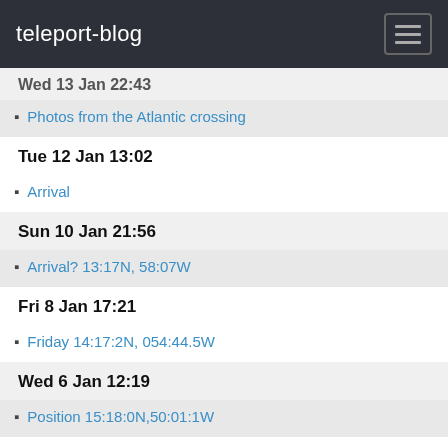teleport-blog
Wed 13 Jan 22:43
Photos from the Atlantic crossing
Tue 12 Jan 13:02
Arrival
Sun 10 Jan 21:56
Arrival? 13:17N, 58:07W
Fri 8 Jan 17:21
Friday 14:17:2N, 054:44.5W
Wed 6 Jan 12:19
Position 15:18:0N,50:01:1W
Tue 5 Jan 15:43
Tuesday 15:43.0N 048:11.4W
Sun 3 Jan 19:56
Sunday 16:29.2N 043:28.1W
2015